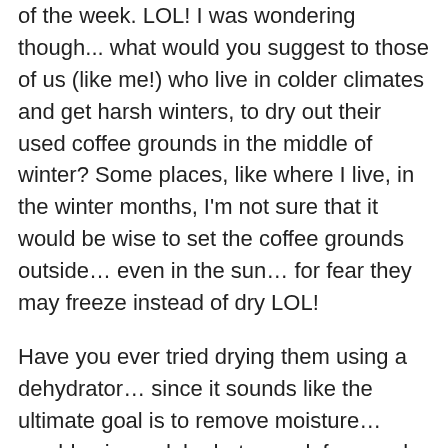of the week. LOL! I was wondering though... what would you suggest to those of us (like me!) who live in colder climates and get harsh winters, to dry out their used coffee grounds in the middle of winter? Some places, like where I live, in the winter months, I'm not sure that it would be wise to set the coffee grounds outside… even in the sun… for fear they may freeze instead of dry LOL!
Have you ever tried drying them using a dehydrator… since it sounds like the ultimate goal is to remove moisture… would using a dehydrator work for people like me, wanting to dry out used coffee grounds indoors in the winter months?
Thanks in advance!!